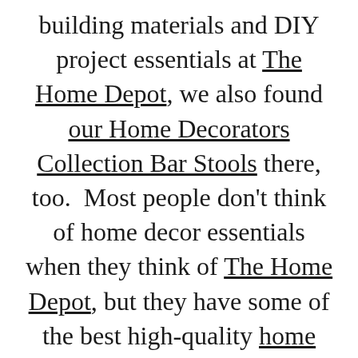building materials and DIY project essentials at The Home Depot, we also found our Home Decorators Collection Bar Stools there, too. Most people don't think of home decor essentials when they think of The Home Depot, but they have some of the best high-quality home decor pieces in addition to their amazing home improvement products. From pretty wall